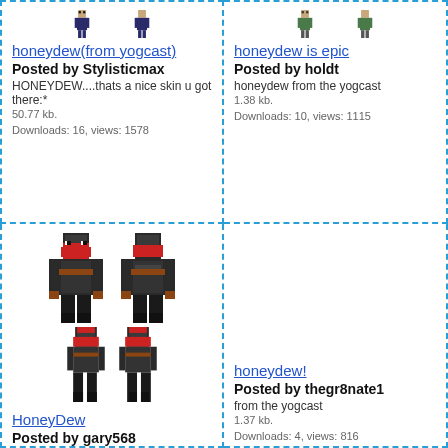[Figure (illustration): Partial Minecraft skin sprites visible at top of cell 1]
honeydew(from yogcast)
Posted by Stylisticmax
HONEYDEW....thats a nice skin u got there:*
50.77 kb.
Downloads: 16, views: 1578
[Figure (illustration): Partial Minecraft skin sprites visible at top of cell 2]
honeydew is epic
Posted by holdt
honeydew from the yogcast
1.38 kb.
Downloads: 10, views: 1115
[Figure (illustration): Minecraft skin pixel art showing dark ninja character with red scarf/bandana, front and back views, plus walking poses]
HoneyDew
Posted by gary568
Yogcast
1.38 kb.
Downloads: 7, views: 727
honeydew!
Posted by thegr8nate1
from the yogcast
1.37 kb.
Downloads: 4, views: 816